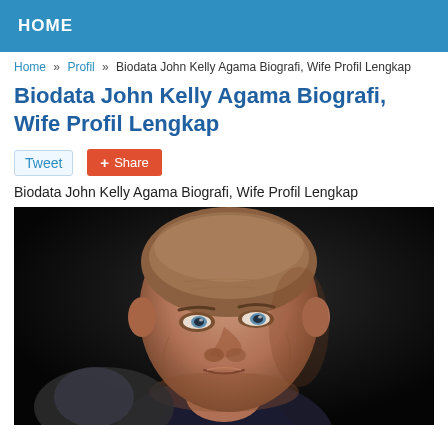HOME
Home » Profil » Biodata John Kelly Agama Biografi, Wife Profil Lengkap
Biodata John Kelly Agama Biografi, Wife Profil Lengkap
Tweet  Share
Biodata John Kelly Agama Biografi, Wife Profil Lengkap
[Figure (photo): Portrait photo of John Kelly, an older bald man in a dark suit, looking slightly to the side against a dark background.]